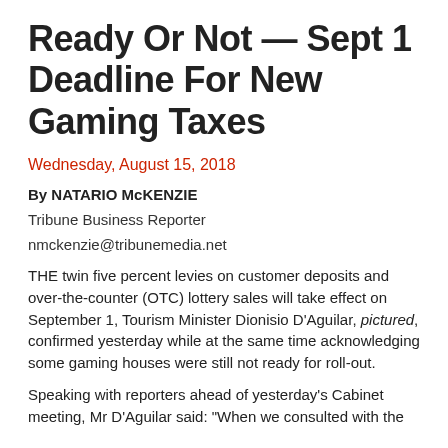Ready Or Not — Sept 1 Deadline For New Gaming Taxes
Wednesday, August 15, 2018
By NATARIO McKENZIE
Tribune Business Reporter
nmckenzie@tribunemedia.net
THE twin five percent levies on customer deposits and over-the-counter (OTC) lottery sales will take effect on September 1, Tourism Minister Dionisio D'Aguilar, pictured, confirmed yesterday while at the same time acknowledging some gaming houses were still not ready for roll-out.
Speaking with reporters ahead of yesterday's Cabinet meeting, Mr D'Aguilar said: "When we consulted with the